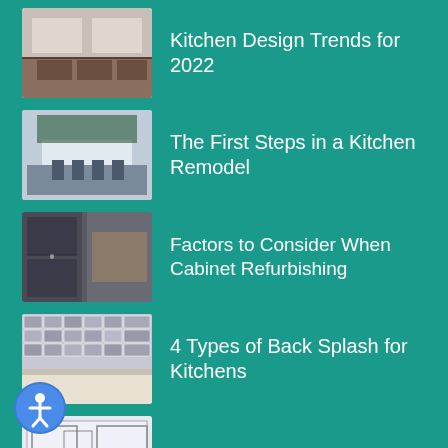Kitchen Design Trends for 2022
The First Steps in a Kitchen Remodel
Factors to Consider When Cabinet Refurbishing
4 Types of Back Splash for Kitchens
The Best Kitchen Layouts
Ideas For Remodeling a Kitchen
Small Kitchen Remodel